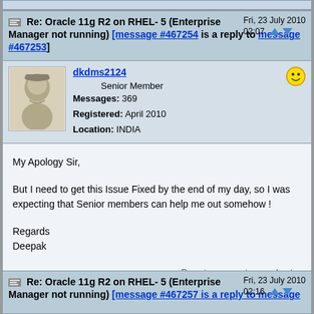Re: Oracle 11g R2 on RHEL- 5 (Enterprise Manager not running) [message #467254 is a reply to message #467253]  Fri, 23 July 2010  02:07
dkdms2124   Senior Member
Messages: 369
Registered: April 2010
Location: INDIA
My Apology Sir,

But I need to get this Issue Fixed by the end of my day, so I was expecting that Senior members can help me out somehow !

Regards
Deepak
Report message to a moderator
Re: Oracle 11g R2 on RHEL- 5 (Enterprise Manager not running) [message #467257 is a reply to message  Fri, 23 July 2010  02:16